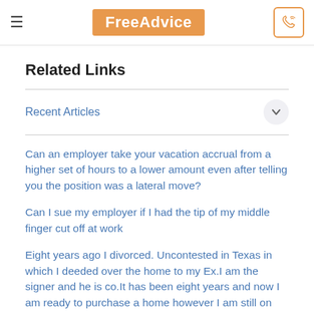FreeAdvice
Related Links
Recent Articles
Can an employer take your vacation accrual from a higher set of hours to a lower amount even after telling you the position was a lateral move?
Can I sue my employer if I had the tip of my middle finger cut off at work
Eight years ago I divorced. Uncontested in Texas in which I deeded over the home to my Ex.I am the signer and he is co.It has been eight years and now I am ready to purchase a home however I am still on this note how can I work around this?